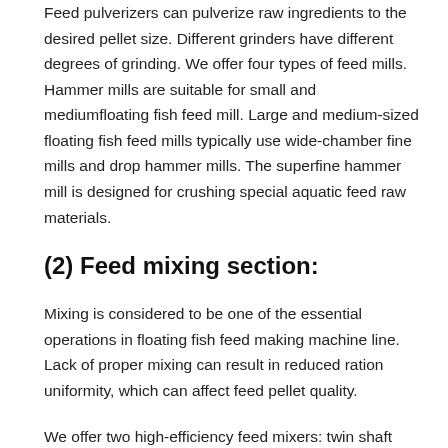Feed pulverizers can pulverize raw ingredients to the desired pellet size. Different grinders have different degrees of grinding. We offer four types of feed mills. Hammer mills are suitable for small and mediumfloating fish feed mill. Large and medium-sized floating fish feed mills typically use wide-chamber fine mills and drop hammer mills. The superfine hammer mill is designed for crushing special aquatic feed raw materials.
(2) Feed mixing section:
Mixing is considered to be one of the essential operations in floating fish feed making machine line. Lack of proper mixing can result in reduced ration uniformity, which can affect feed pellet quality.
We offer two high-efficiency feed mixers: twin shaft mixers for mixing powdered or granular materials and spiral belt mixers for mixing powdered materials. Both can be equipped with an atomizing spray system to add the required liquid to improve the